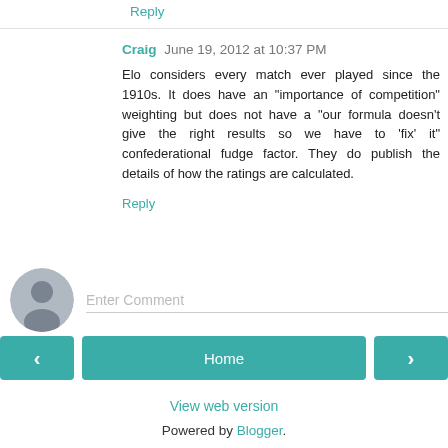Reply
Craig  June 19, 2012 at 10:37 PM
Elo considers every match ever played since the 1910s. It does have an "importance of competition" weighting but does not have a "our formula doesn't give the right results so we have to 'fix' it" confederational fudge factor. They do publish the details of how the ratings are calculated.
Reply
[Figure (other): User avatar placeholder icon (gray circle with person silhouette)]
Enter Comment
< (previous navigation button)
Home
> (next navigation button)
View web version
Powered by Blogger.